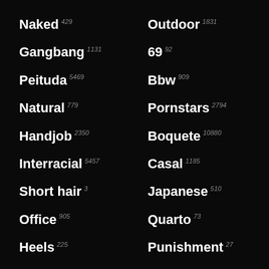Naked 429
Outdoor 1831
Gangbang 1131
69 92
Peituda 5469
Bbw 909
Natural 779
Pornstars 2794
Handjob 2350
Boquete 10880
Interracial 5457
Casal 1185
Short hair 3
Japanese 510
Office 905
Quarto 73
Heels 225
Punishment 27
European 2592
Asiático 1544
Voyeur 653
Orgy 515